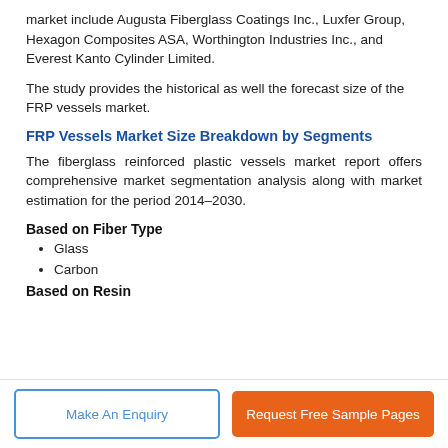market include Augusta Fiberglass Coatings Inc., Luxfer Group, Hexagon Composites ASA, Worthington Industries Inc., and Everest Kanto Cylinder Limited.
The study provides the historical as well the forecast size of the FRP vessels market.
FRP Vessels Market Size Breakdown by Segments
The fiberglass reinforced plastic vessels market report offers comprehensive market segmentation analysis along with market estimation for the period 2014–2030.
Based on Fiber Type
Glass
Carbon
Based on Resin